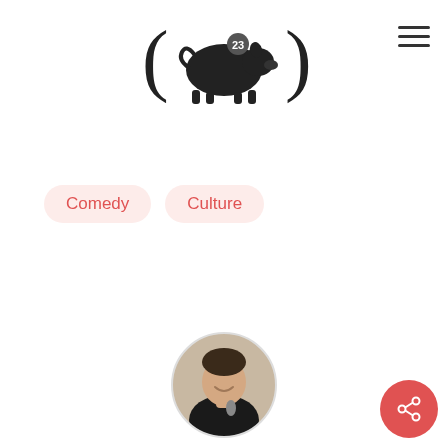[Figure (logo): Pig silhouette logo with number 23, flanked by parentheses, center top of page]
[Figure (other): Hamburger menu icon (three horizontal lines) top right]
Comedy
Culture
[Figure (photo): Circular profile photo of Rob Cressy, a smiling man in a dark shirt with a microphone]
ROB CRESSY
Sports loving free throw specialist and yinzer living in Chicago who is awesome most of the time, has run with the bulls in